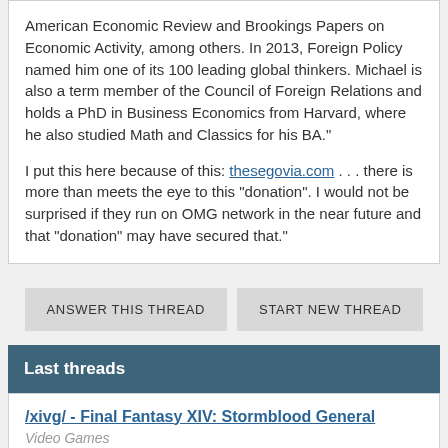American Economic Review and Brookings Papers on Economic Activity, among others. In 2013, Foreign Policy named him one of its 100 leading global thinkers. Michael is also a term member of the Council of Foreign Relations and holds a PhD in Business Economics from Harvard, where he also studied Math and Classics for his BA."
I put this here because of this: thesegovia.com . . . there is more than meets the eye to this "donation". I would not be surprised if they run on OMG network in the near future and that "donation" may have secured that."
ANSWER THIS THREAD
START NEW THREAD
Last threads
/xivg/ - Final Fantasy XIV: Stormblood General
Video Games
/dng/ Dueling Network General